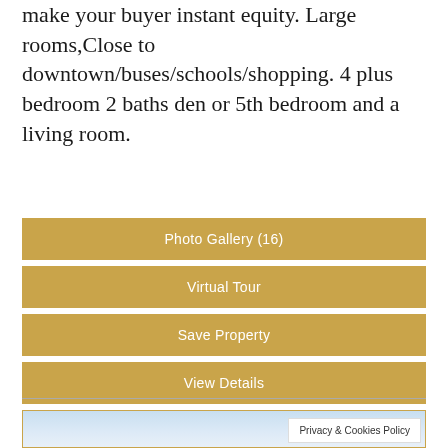make your buyer instant equity. Large rooms,Close to downtown/buses/schools/shopping. 4 plus bedroom 2 baths den or 5th bedroom and a living room.
Photo Gallery (16)
Virtual Tour
Save Property
View Details
[Figure (photo): Outdoor photo (partially visible) with blue sky background and a vertical pole/post element. Privacy & Cookies Policy notice overlay in bottom right.]